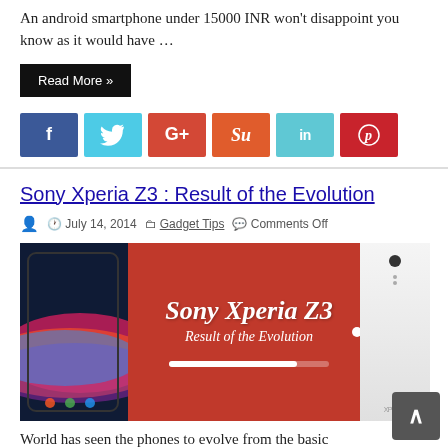An android smartphone under 15000 INR won't disappoint you know as it would have ...
Read More »
[Figure (infographic): Social media share buttons: Facebook (blue), Twitter (light blue), Google+ (red), StumbleUpon (orange-red), LinkedIn (teal), Pinterest (red)]
Sony Xperia Z3 : Result of the Evolution
July 14, 2014   Gadget Tips   Comments Off
[Figure (photo): Promotional image for Sony Xperia Z3 article. Red background with white italic text 'Sony Xperia Z3 Result of the Evolution'. Left side shows a dark smartphone with colorful display. Right side shows a white Sony Xperia device.]
World has seen the phones to evolve from the basic